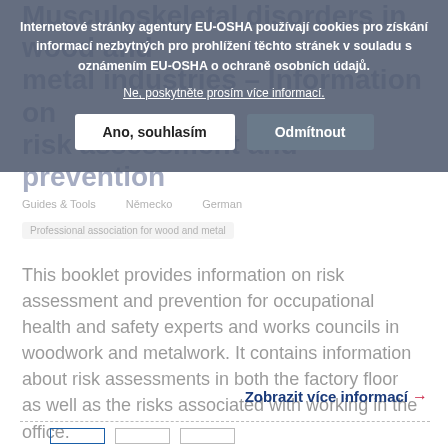Musculoskeletal disorders in wood and metal industries – Information on risk assessment and prevention
Guides & Tools   Německo   German
Professional association for wood and metal
This booklet provides information on risk assessment and prevention for occupational health and safety experts and works councils in woodwork and metalwork. It contains information about risk assessments in both the factory floor as well as the risks associated with working in the office.
Internetové stránky agentury EU-OSHA používají cookies pro získání informací nezbytných pro prohlížení těchto stránek v souladu s oznámením EU-OSHA o ochraně osobních údajů.
Ne, poskytněte prosím více informací.
Ano, souhlasím
Odmítnout
Zobrazit více informací →